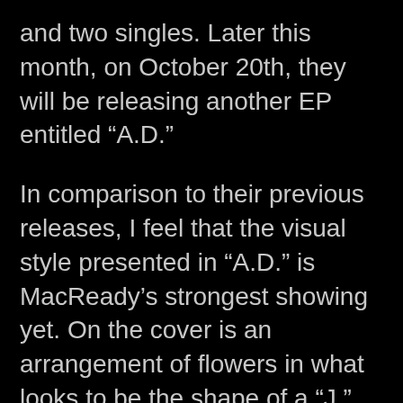and two singles. Later this month, on October 20th, they will be releasing another EP entitled “A.D.”
In comparison to their previous releases, I feel that the visual style presented in “A.D.” is MacReady’s strongest showing yet. On the cover is an arrangement of flowers in what looks to be the shape of a “J.” Now as to what that “J” stands for is anyone’s guess. Regardless, I quite like this image as it’s a departure from the more cartoony look/feel that MacReady presented us with before. Having a good